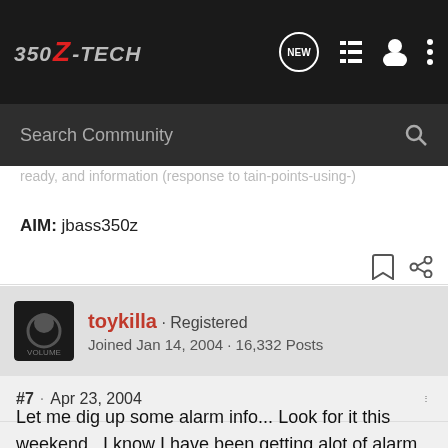350Z-TECH
Search Community
ready, and information (response to tain-points-using-)
AIM: jbass350z
toykilla · Registered
Joined Jan 14, 2004 · 16,332 Posts
#7 · Apr 23, 2004
Let me dig up some alarm info... Look for it this weekend.. I know I have been getting alot of alarm questions lately.. I need to clear up some confusion that salesman will try give you